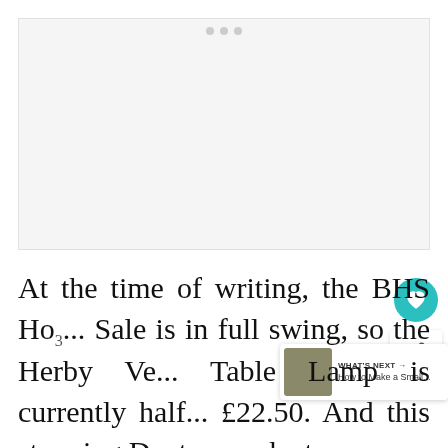[Figure (photo): Large image area (appears blank/loading) with carousel dots at top, light gray background]
At the time of writing, the BHS Ho... Sale is in full swing, so the Herby Ve... Table Lamp is currently half... £22.50. And this stunning Dexter pendant